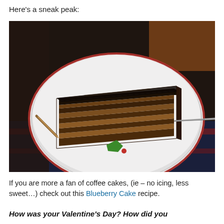Here's a sneak peak:
[Figure (photo): A slice of layered chocolate cake with dark chocolate ganache frosting on a white plate with red rim, placed on a dark patterned tablecloth. A fork is visible on the plate. A green and red label is visible on the plate.]
If you are more a fan of coffee cakes, (ie – no icing, less sweet…) check out this Blueberry Cake recipe.
How was your Valentine's Day?  How did you